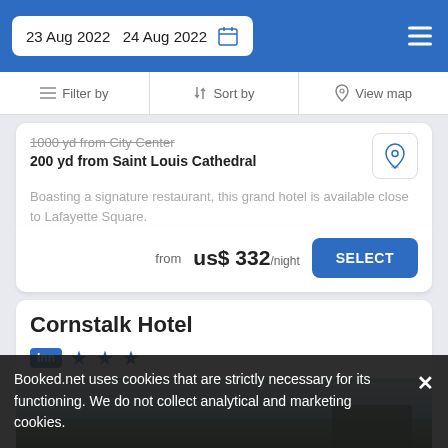23 Aug 2022   24 Aug 2022
Filter by   Sort by   View map
1000 yd from City Center
200 yd from Saint Louis Cathedral
Boasting a signature restaurant, this grand hotel is available close to Lafayette Square.
from  us$ 332/night
Cornstalk Hotel
Inn ★★★
[Figure (photo): Hotel exterior photo with trees and blue sky]
Booked.net uses cookies that are strictly necessary for its functioning. We do not collect analytical and marketing cookies.